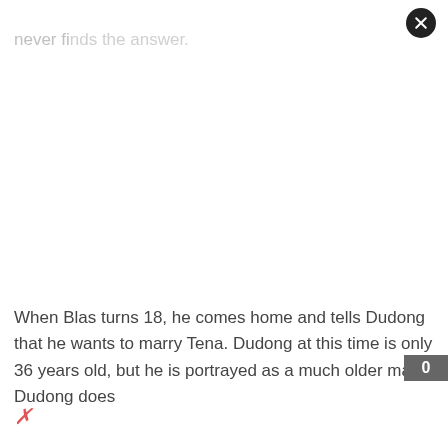never finds the answer.
When Blas turns 18, he comes home and tells Dudong that he wants to marry Tena. Dudong at this time is only 36 years old, but he is portrayed as a much older man. Dudong does